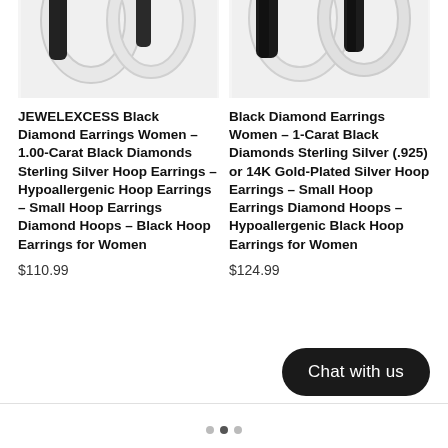[Figure (photo): Black diamond hoop earrings silver – left product image, cropped top portion showing earring closeup on white background]
[Figure (photo): Black diamond hoop earrings silver – right product image, cropped top portion showing earring closeup on white background]
JEWELEXCESS Black Diamond Earrings Women – 1.00-Carat Black Diamonds Sterling Silver Hoop Earrings – Hypoallergenic Hoop Earrings – Small Hoop Earrings Diamond Hoops – Black Hoop Earrings for Women
$110.99
Black Diamond Earrings Women – 1-Carat Black Diamonds Sterling Silver (.925) or 14K Gold-Plated Silver Hoop Earrings – Small Hoop Earrings Diamond Hoops – Hypoallergenic Black Hoop Earrings for Women
$124.99
Chat with us